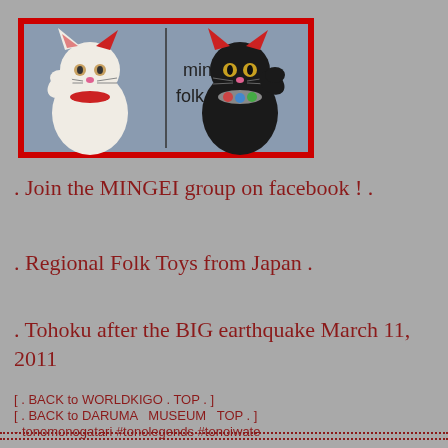[Figure (illustration): Logo image with two maneki-neko (lucky cats) — a white cat on the left and a black cat on the right, both with raised paws, against a grey fabric background with a red border. Text in the center reads 'mingei folk | art'.]
. Join the MINGEI group on facebook ! .
. Regional Folk Toys from Japan .
. Tohoku after the BIG earthquake March 11, 2011
[ . BACK to WORLDKIGO . TOP . ]
[ . BACK to DARUMA   MUSEUM   TOP . ]
- tonomonogatari #tonolegends #tonoiwate